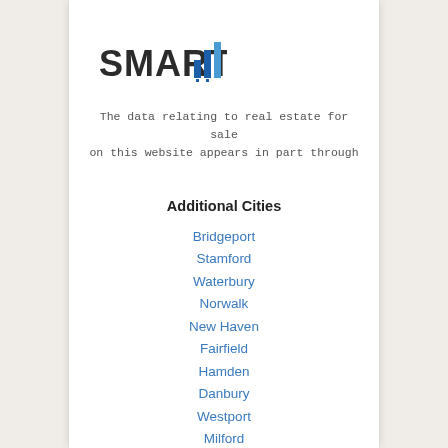[Figure (logo): SMART logo with bar chart icon in dark gray and blue]
The data relating to real estate for sale on this website appears in part through
Additional Cities
Bridgeport
Stamford
Waterbury
Norwalk
New Haven
Fairfield
Hamden
Danbury
Westport
Milford